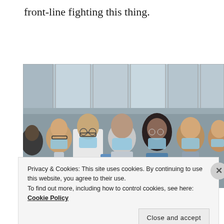front-line fighting this thing.
[Figure (photo): Group of healthcare workers wearing blue surgical masks, standing together in a hospital or medical facility with glass windows in the background. Several people are visible including individuals in white lab coats.]
Privacy & Cookies: This site uses cookies. By continuing to use this website, you agree to their use.
To find out more, including how to control cookies, see here: Cookie Policy
Close and accept